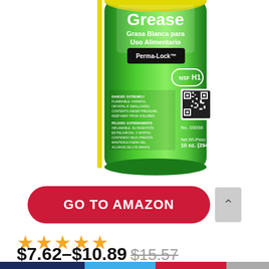[Figure (photo): Green aerosol spray can of White Grease / Grasa Blanca para Uso Alimentario with Perma-Lock 2-way integrated actuator, NSF H1 certification, QR code, No. 03038, Net Wt. 10 oz. (294g), danger/peligro warnings in English and Spanish.]
GO TO AMAZON
★★★★★
$7.62–$10.89 $15.57